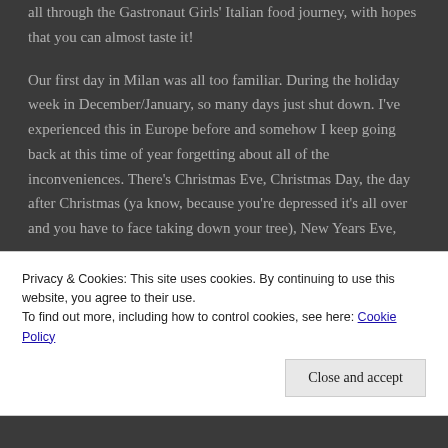all through the Gastronaut Girls' Italian food journey, with hopes that you can almost taste it!
Our first day in Milan was all too familiar. During the holiday week in December/January, so many days just shut down. I've experienced this in Europe before and somehow I keep going back at this time of year forgetting about all of the inconveniences. There's Christmas Eve, Christmas Day, the day after Christmas (ya know, because you're depressed it's all over and you have to face taking down your tree), New Years Eve,
Privacy & Cookies: This site uses cookies. By continuing to use this website, you agree to their use.
To find out more, including how to control cookies, see here: Cookie Policy
Close and accept
[bottom partial text]